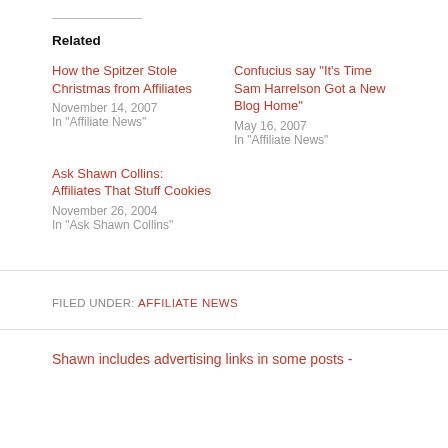Related
How the Spitzer Stole Christmas from Affiliates
November 14, 2007
In "Affiliate News"
Confucius say "It's Time Sam Harrelson Got a New Blog Home"
May 16, 2007
In "Affiliate News"
Ask Shawn Collins: Affiliates That Stuff Cookies
November 26, 2004
In "Ask Shawn Collins"
FILED UNDER: AFFILIATE NEWS
Shawn includes advertising links in some posts -